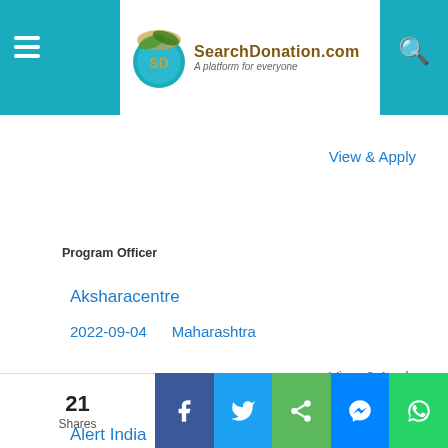SearchDonation.com — A platform for everyone
View & Apply
Program Officer
Aksharacentre
2022-09-04    Maharashtra
View & Apply
Coordinator - Women Empowerment Program
Alert India
2022-09-04    Maharashtra
21 Shares — Facebook, Twitter, Share, Messenger, WhatsApp